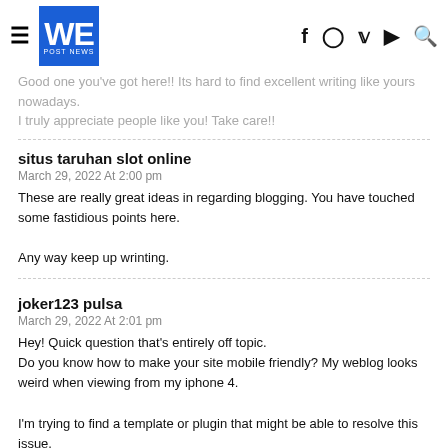WE POST NEWS
Good one you've got here!! Its hard to find excellent writing like yours nowadays.
I truly appreciate people like you! Take care!!
situs taruhan slot online
March 29, 2022 At 2:00 pm
These are really great ideas in regarding blogging. You have touched some fastidious points here.

Any way keep up wrinting.
joker123 pulsa
March 29, 2022 At 2:01 pm
Hey! Quick question that's entirely off topic.
Do you know how to make your site mobile friendly? My weblog looks weird when viewing from my iphone 4.

I'm trying to find a template or plugin that might be able to resolve this issue.
If you have any suggestions, please share. Appreciate it!